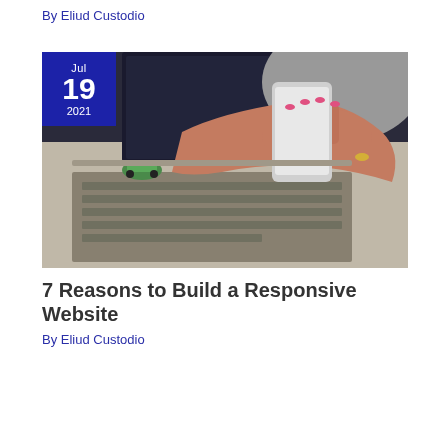By Eliud Custodio
[Figure (photo): Person holding a smartphone over a laptop keyboard on a wooden desk, with a small toy car visible. A blue date badge overlay shows Jul 19 2021.]
7 Reasons to Build a Responsive Website
By Eliud Custodio